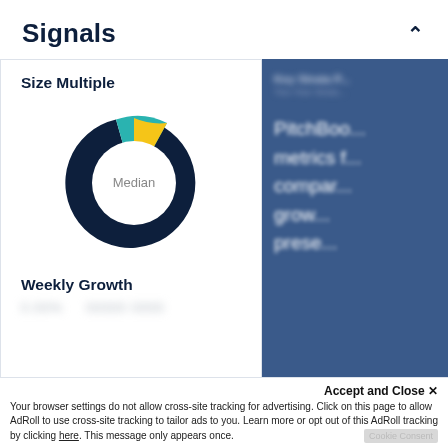Signals
[Figure (donut-chart): Donut chart showing size multiple distribution with dark navy (majority), teal/cyan, and yellow segments. Center label reads 'Median'.]
Weekly Growth
[blurred data]
[Figure (infographic): Dark blue panel partially visible on the right side showing 'Key Strata P...' header and text beginning 'PitchBoo... metrics f... compar... grow... prese...']
Accept and Close ✕
Your browser settings do not allow cross-site tracking for advertising. Click on this page to allow AdRoll to use cross-site tracking to tailor ads to you. Learn more or opt out of this AdRoll tracking by clicking here. This message only appears once.